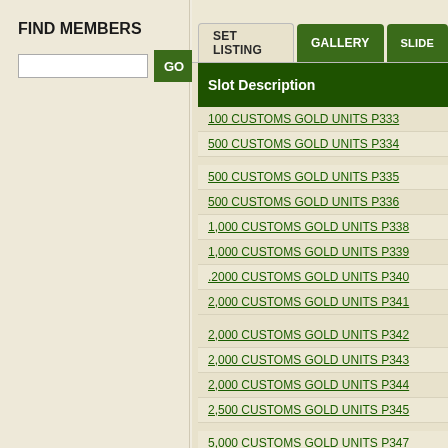FIND MEMBERS
Search input and GO button
| Slot Description |
| --- |
| 100 CUSTOMS GOLD UNITS P333 |
| 500 CUSTOMS GOLD UNITS P334 |
| 500 CUSTOMS GOLD UNITS P335 |
| 500 CUSTOMS GOLD UNITS P336 |
| 1,000 CUSTOMS GOLD UNITS P338 |
| 1,000 CUSTOMS GOLD UNITS P339 |
| .2000 CUSTOMS GOLD UNITS P340 |
| 2,000 CUSTOMS GOLD UNITS P341 |
| 2,000 CUSTOMS GOLD UNITS P342 |
| 2,000 CUSTOMS GOLD UNITS P343 |
| 2,000 CUSTOMS GOLD UNITS P344 |
| 2,500 CUSTOMS GOLD UNITS P345 |
| 5,000 CUSTOMS GOLD UNITS P347 |
| 5,000 CUSTOMS GOLD UNITS P349 |
| 5,000 CUSTOMS GOLD UNITS P350 |